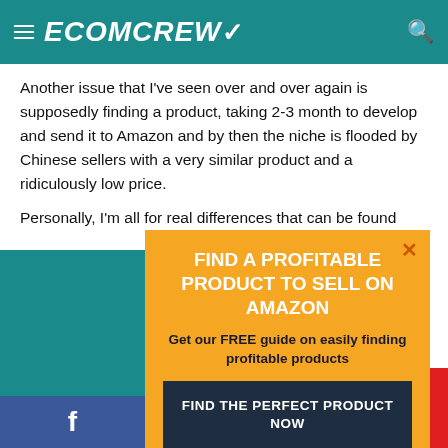ECOMCREW
Another issue that I've seen over and over again is supposedly finding a product, taking 2-3 month to develop and send it to Amazon and by then the niche is flooded by Chinese sellers with a very similar product and a ridiculously low price.
Personally, I'm all for real differences that can be found
FIND A PROFITABLE PRODUCT TO SELL ON AMAZON
Get our FREE guide on easily finding profitable products
FIND THE PERFECT PRODUCT NOW